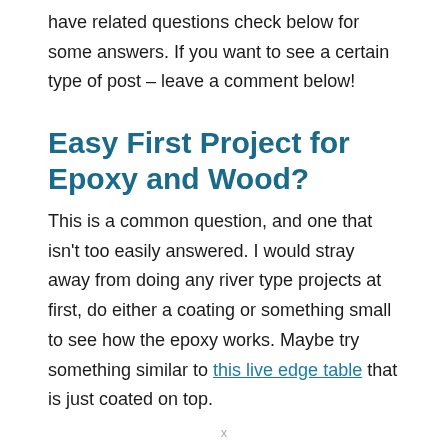have related questions check below for some answers. If you want to see a certain type of post – leave a comment below!
Easy First Project for Epoxy and Wood?
This is a common question, and one that isn't too easily answered. I would stray away from doing any river type projects at first, do either a coating or something small to see how the epoxy works. Maybe try something similar to this live edge table that is just coated on top.
x